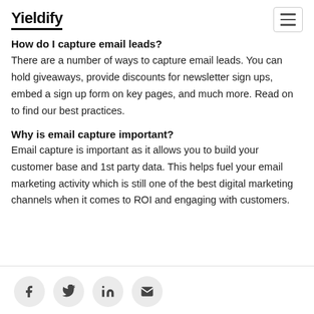Yieldify
How do I capture email leads?
There are a number of ways to capture email leads. You can hold giveaways, provide discounts for newsletter sign ups, embed a sign up form on key pages, and much more. Read on to find our best practices.
Why is email capture important?
Email capture is important as it allows you to build your customer base and 1st party data. This helps fuel your email marketing activity which is still one of the best digital marketing channels when it comes to ROI and engaging with customers.
Social share icons: Facebook, Twitter, LinkedIn, Email